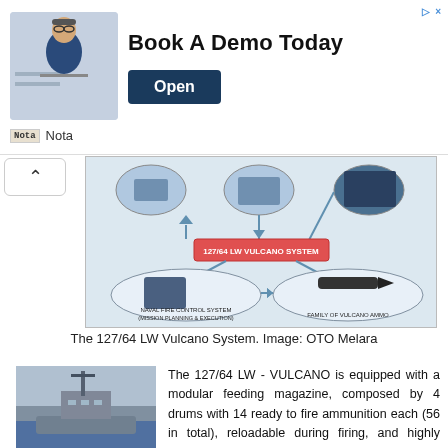[Figure (screenshot): Advertisement banner: 'Book A Demo Today' with photo of smiling man at laptop, Open button, and Nota branding]
[Figure (schematic): 127/64 LW Vulcano System diagram showing Naval Fire Control System (Mission Planning & Execution) and Family of Vulcano Ammo connected to central 127/64 LW Vulcano System label with arrows]
The 127/64 LW Vulcano System. Image: OTO Melara
[Figure (photo): Photo of a naval warship at sea, front bow view showing mast and superstructure]
The 127/64 LW - VULCANO is equipped with a modular feeding magazine, composed by 4 drums with 14 ready to fire ammunition each (56 in total), reloadable during firing, and highly flexible in terms of selection of ammunition, independently from their position in the drums. Ammunition